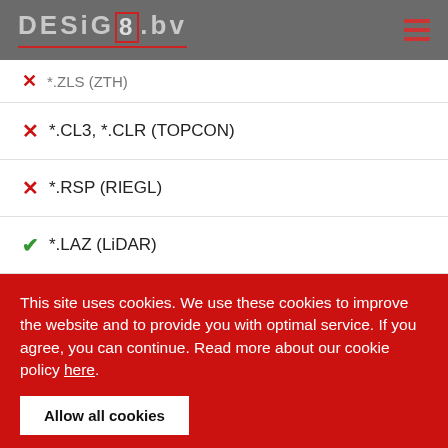DESIGN8 bv
*.ZLS (ZTH)
*.CL3, *.CLR (TOPCON)
*.RSP (RIEGL)
*.LAZ (LiDAR)
This site uses cookies. We use these cookies to improve the website and to provide you with optimal service. If you agree, you can continue. Read more about our cookie policy here.
Allow all cookies